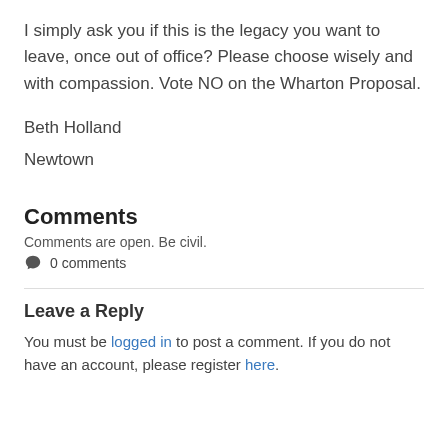I simply ask you if this is the legacy you want to leave, once out of office? Please choose wisely and with compassion. Vote NO on the Wharton Proposal.
Beth Holland
Newtown
Comments
Comments are open. Be civil.
0 comments
Leave a Reply
You must be logged in to post a comment. If you do not have an account, please register here.